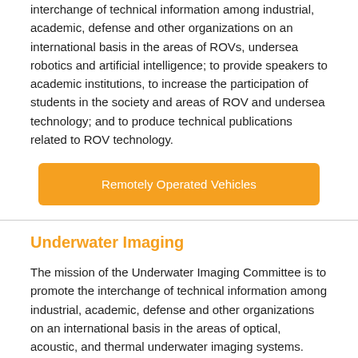interchange of technical information among industrial, academic, defense and other organizations on an international basis in the areas of ROVs, undersea robotics and artificial intelligence; to provide speakers to academic institutions, to increase the participation of students in the society and areas of ROV and undersea technology; and to produce technical publications related to ROV technology.
[Figure (other): Orange button labeled 'Remotely Operated Vehicles']
Underwater Imaging
The mission of the Underwater Imaging Committee is to promote the interchange of technical information among industrial, academic, defense and other organizations on an international basis in the areas of optical, acoustic, and thermal underwater imaging systems.
[Figure (other): Orange button labeled 'Underwater Imaging' (partially visible)]